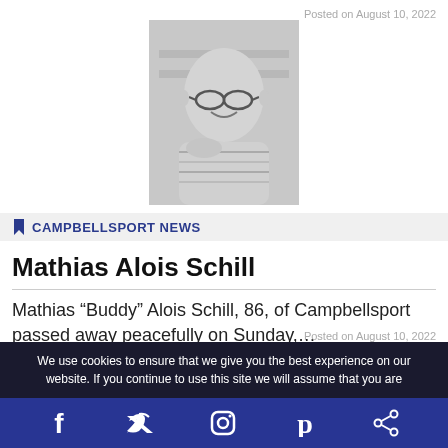Posted on August 10, 2022
[Figure (photo): Black and white portrait photo of Mathias Alois Schill, an elderly man wearing glasses and a striped shirt, smiling]
CAMPBELLSPORT NEWS
Mathias Alois Schill
Mathias “Buddy” Alois Schill, 86, of Campbellsport passed away peacefully on Sunday,...
Posted on August 10, 2022
We use cookies to ensure that we give you the best experience on our website. If you continue to use this site we will assume that you are
[Figure (infographic): Social media icon bar with Facebook, Twitter, Instagram, Pinterest, and Share icons on dark blue background]